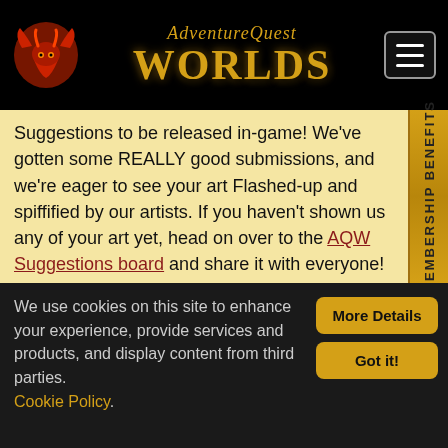AdventureQuest Worlds
Suggestions to be released in-game! We've gotten some REALLY good submissions, and we're eager to see your art Flashed-up and spiffified by our artists. If you haven't shown us any of your art yet, head on over to the AQW Suggestions board and share it with everyone!
Features, features, features!
We've been planning on making some feature changes and updates to the game for a while, and now that the DoomWood Saga is over, we've got the means and the manpower to make them happen!
We use cookies on this site to enhance your experience, provide services and products, and display content from third parties. Cookie Policy.